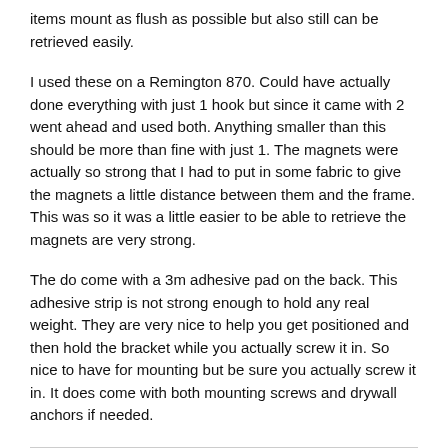items mount as flush as possible but also still can be retrieved easily.
I used these on a Remington 870. Could have actually done everything with just 1 hook but since it came with 2 went ahead and used both. Anything smaller than this should be more than fine with just 1. The magnets were actually so strong that I had to put in some fabric to give the magnets a little distance between them and the frame. This was so it was a little easier to be able to retrieve the magnets are very strong.
The do come with a 3m adhesive pad on the back. This adhesive strip is not strong enough to hold any real weight. They are very nice to help you get positioned and then hold the bracket while you actually screw it in. So nice to have for mounting but be sure you actually screw it in. It does come with both mounting screws and drywall anchors if needed.
Would purchase again!